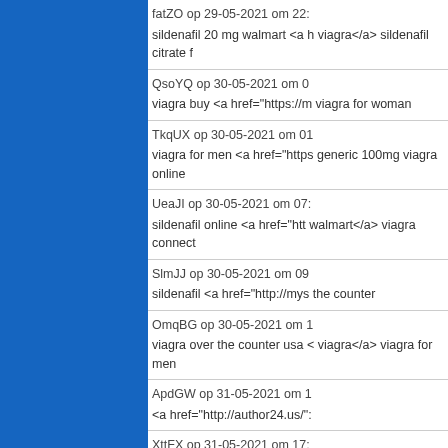[Figure (other): Blue rectangle panel on left side of page]
fatZO op 29-05-2021 om 22: sildenafil 20 mg walmart <a h viagra</a> sildenafil citrate f
QsoYQ op 30-05-2021 om 0 viagra buy <a href="https://m viagra for woman
TkqUX op 30-05-2021 om 01 viagra for men <a href="https generic 100mg viagra online
UeaJI op 30-05-2021 om 07: sildenafil online <a href="htt walmart</a> viagra connect
SlmJJ op 30-05-2021 om 09 sildenafil <a href="http://mys the counter
OmqBG op 30-05-2021 om 1 viagra over the counter usa < viagra</a> viagra for men
ApdGW op 31-05-2021 om 1 <a href="http://author24.us/":
XttFX op 31-05-2021 om 17: Viewing high-quality video on
<a href="https://xxxhdvideo.s